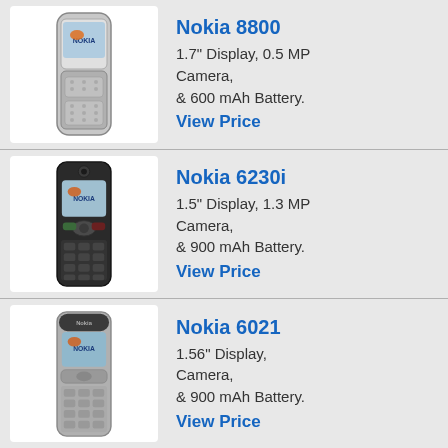[Figure (photo): Nokia 8800 mobile phone image]
Nokia 8800
1.7" Display, 0.5 MP Camera, & 600 mAh Battery.
View Price
[Figure (photo): Nokia 6230i mobile phone image]
Nokia 6230i
1.5" Display, 1.3 MP Camera, & 900 mAh Battery.
View Price
[Figure (photo): Nokia 6021 mobile phone image]
Nokia 6021
1.56" Display, Camera, & 900 mAh Battery.
View Price